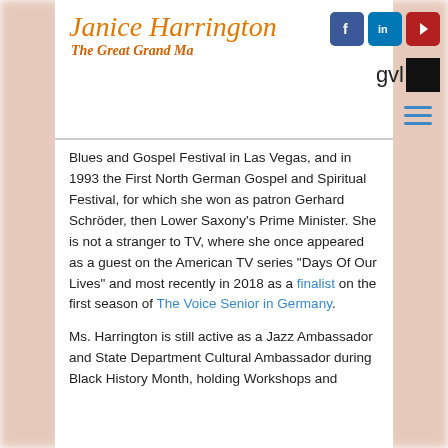Janice Harrington
The Great Grand Ma
[Figure (logo): Social media icons: Facebook (blue), LinkedIn (blue), YouTube (red), and GVL logo with black square]
Blues and Gospel Festival  in Las Vegas, and in 1993 the First North German Gospel and Spiritual Festival, for which she won as patron Gerhard Schröder, then Lower Saxony's Prime Minister. She is not a stranger to TV, where she once appeared as a guest on the American TV series “Days Of Our Lives” and most recently in 2018 as a finalist on the first season of The Voice Senior in Germany.
Ms. Harrington is  still active as a Jazz Ambassador and State Department Cultural Ambassador during Black History Month, holding Workshops and